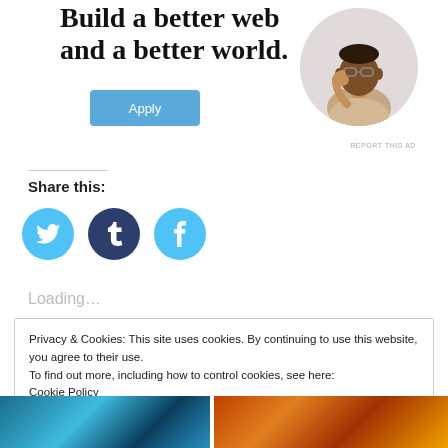Build a better web and a better world.
[Figure (photo): Apply button for a job or program ad]
[Figure (photo): Circular portrait photo of a man with glasses, resting his chin on his hand, sitting at a desk]
REPORT THIS AD
Share this:
[Figure (infographic): Three social sharing icons: Twitter (blue), Tumblr (dark navy), Facebook (blue)]
Loading...
Privacy & Cookies: This site uses cookies. By continuing to use this website, you agree to their use.
To find out more, including how to control cookies, see here:
Cookie Policy
[Figure (photo): Two thumbnail images at the bottom of the page — left shows a teal/blue-toned scene, right shows an orange/warm-toned crowd scene]